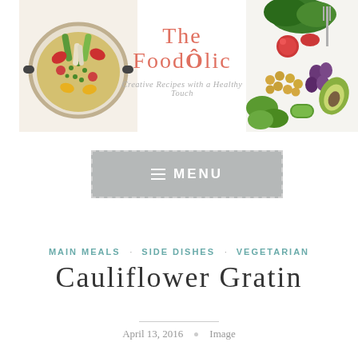[Figure (photo): Left food photo: colorful vegetable paella in a round pan]
The FoodÔlic
Creative Recipes with a Healthy Touch
[Figure (photo): Right food photo: fresh vegetables and chickpeas salad arrangement]
≡ MENU
MAIN MEALS · SIDE DISHES · VEGETARIAN
Cauliflower Gratin
April 13, 2016   Image